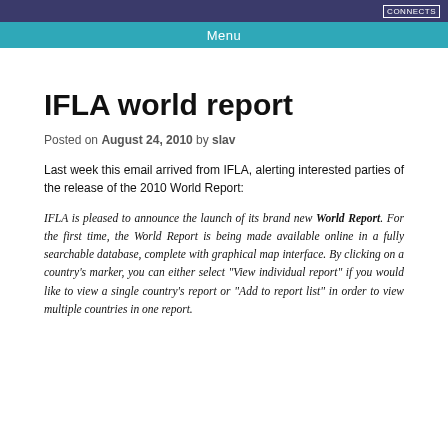CONNECTS
Menu
IFLA world report
Posted on August 24, 2010 by slav
Last week this email arrived from IFLA, alerting interested parties of the release of the 2010 World Report:
IFLA is pleased to announce the launch of its brand new World Report. For the first time, the World Report is being made available online in a fully searchable database, complete with graphical map interface. By clicking on a country's marker, you can either select "View individual report" if you would like to view a single country's report or "Add to report list" in order to view multiple countries in one report.